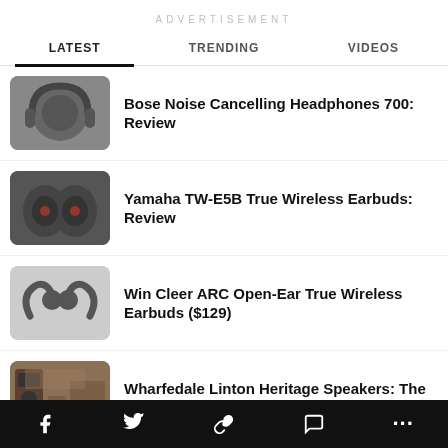ADVERTISEMENT
LATEST
TRENDING
VIDEOS
[Figure (photo): Bose over-ear headphones in dark gray/black]
Bose Noise Cancelling Headphones 700: Review
[Figure (photo): Yamaha TW-E5B true wireless earbuds in black with textured surface]
Yamaha TW-E5B True Wireless Earbuds: Review
[Figure (photo): Cleer ARC open-ear true wireless earbuds in dark gray]
Win Cleer ARC Open-Ear True Wireless Earbuds ($129)
[Figure (photo): Wharfedale Linton Heritage speakers in room setting]
Wharfedale Linton Heritage Speakers: The Audiophile System
Social share bar with Facebook, Twitter, link, comment, and more icons